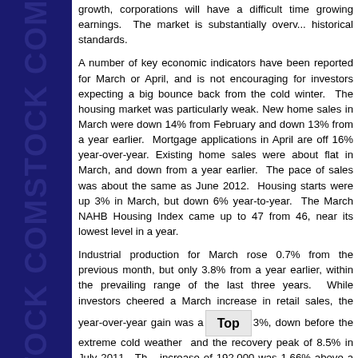[Figure (other): Dark navy blue sidebar with repeated 'COMSTOCK' watermark text written vertically in a slightly lighter shade]
growth, corporations will have a difficult time growing earnings. The market is substantially overv... historical standards.
A number of key economic indicators have been reported for March or April, and is not encouraging for investors expecting a big bounce back from the cold winter. The housing market was particularly weak. New home sales in March were down 14% from February and down 13% from a year earlier. Mortgage applications in April are off 16% year-over-year. Existing home sales were about flat in March, and down from a year earlier. The pace of sales was about the same as June 2012. Housing starts were up 3% in March, but down 6% year-to-year. The March NAHB Housing Index came up to 47 from 46, near its lowest level in a year.
Industrial production for March rose 0.7% from the previous month, but only 3.8% from a year earlier, within the prevailing range of the last three years. While investors cheered a March increase in retail sales, the year-over-year gain was a...3%, down from before the extreme cold weather... and the recovery peak of 8.5% in July 2011. Th... increase of 192,000 was 1.66% above a ye...